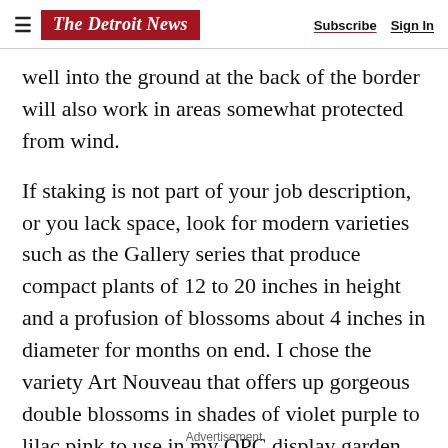The Detroit News — Subscribe  Sign In
well into the ground at the back of the border will also work in areas somewhat protected from wind.
If staking is not part of your job description, or you lack space, look for modern varieties such as the Gallery series that produce compact plants of 12 to 20 inches in height and a profusion of blossoms about 4 inches in diameter for months on end. I chose the variety Art Nouveau that offers up gorgeous double blossoms in shades of violet purple to lilac pink to use in my OPC display garden. These lovelies are great for use in large containers as well as landscapes or beds.
Advertisement